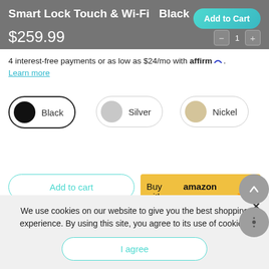Smart Lock Touch & Wi-Fi  Black
$259.99
4 interest-free payments or as low as $24/mo with affirm.
Learn more
Black (selected)
Silver
Nickel
Add to cart
Buy with amazon pay
More payment options
We use cookies on our website to give you the best shopping experience. By using this site, you agree to its use of cookies.
I agree